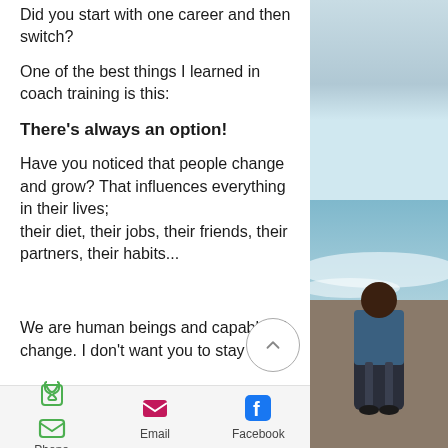Did you start with one career and then switch?
One of the best things I learned in coach training is this:
There's always an option!
Have you noticed that people change and grow? That influences everything in their lives; their diet, their jobs, their friends, their partners, their habits...
We are human beings and capable of change. I don't want you to stay in the
[Figure (photo): Person viewed from behind running on a beach, wearing a denim jacket and dark pants, with waves in the background]
Phone   Email   Facebook